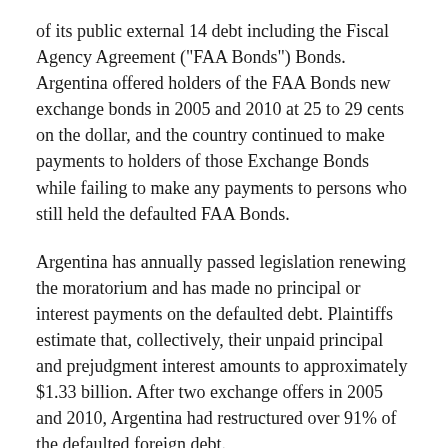of its public external 14 debt including the Fiscal Agency Agreement ("FAA Bonds") Bonds. Argentina offered holders of the FAA Bonds new exchange bonds in 2005 and 2010 at 25 to 29 cents on the dollar, and the country continued to make payments to holders of those Exchange Bonds while failing to make any payments to persons who still held the defaulted FAA Bonds.
Argentina has annually passed legislation renewing the moratorium and has made no principal or interest payments on the defaulted debt. Plaintiffs estimate that, collectively, their unpaid principal and prejudgment interest amounts to approximately $1.33 billion. After two exchange offers in 2005 and 2010, Argentina had restructured over 91% of the defaulted foreign debt.
Plaintiffs alleged that Argentina's conduct violated the Pari Passu Clause by